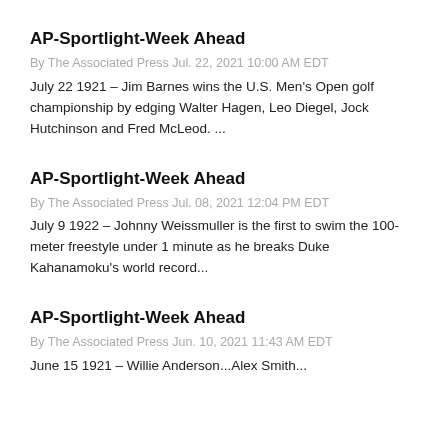AP-Sportlight-Week Ahead
By The Associated Press Jul. 22, 2021 10:00 AM EDT
July 22 1921 – Jim Barnes wins the U.S. Men's Open golf championship by edging Walter Hagen, Leo Diegel, Jock Hutchinson and Fred McLeod. ...
AP-Sportlight-Week Ahead
By The Associated Press Jul. 08, 2021 12:04 PM EDT
July 9 1922 – Johnny Weissmuller is the first to swim the 100-meter freestyle under 1 minute as he breaks Duke Kahanamoku's world record...
AP-Sportlight-Week Ahead
By The Associated Press Jun. 10, 2021 11:43 AM EDT
June 15 1921 – Willie Anderson...Alex Smith...